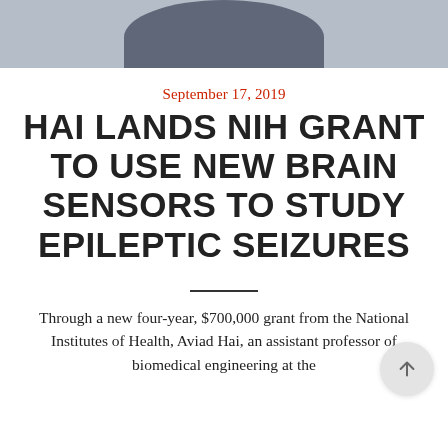[Figure (photo): Partial view of a person wearing a dark blue/navy sweater against a light grey background, cropped to show only upper torso and lower head area.]
September 17, 2019
HAI LANDS NIH GRANT TO USE NEW BRAIN SENSORS TO STUDY EPILEPTIC SEIZURES
Through a new four-year, $700,000 grant from the National Institutes of Health, Aviad Hai, an assistant professor of biomedical engineering at the